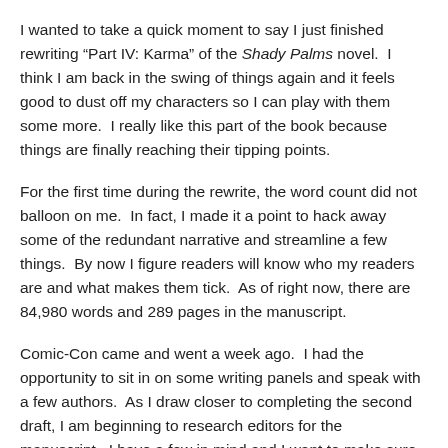I wanted to take a quick moment to say I just finished rewriting “Part IV: Karma” of the Shady Palms novel.  I think I am back in the swing of things again and it feels good to dust off my characters so I can play with them some more.  I really like this part of the book because things are finally reaching their tipping points.
For the first time during the rewrite, the word count did not balloon on me.  In fact, I made it a point to hack away some of the redundant narrative and streamline a few things.  By now I figure readers will know who my readers are and what makes them tick.  As of right now, there are 84,980 words and 289 pages in the manuscript.
Comic-Con came and went a week ago.  I had the opportunity to sit in on some writing panels and speak with a few authors.  As I draw closer to completing the second draft, I am beginning to research editors for the manuscript.  I have a few in mind and I want to make sure they are a good fit with the style and tone of my work.